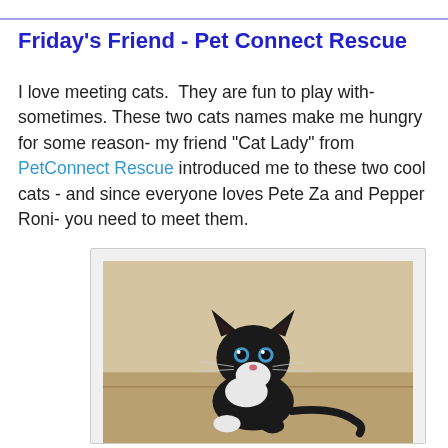Friday's Friend - Pet Connect Rescue
I love meeting cats.  They are fun to play with- sometimes. These two cats names make me hungry for some reason- my friend "Cat Lady" from PetConnect Rescue introduced me to these two cool cats - and since everyone loves Pete Za and Pepper Roni- you need to meet them.
[Figure (photo): A small black and white kitten with blue eyes sitting on a tan couch, looking at the camera]